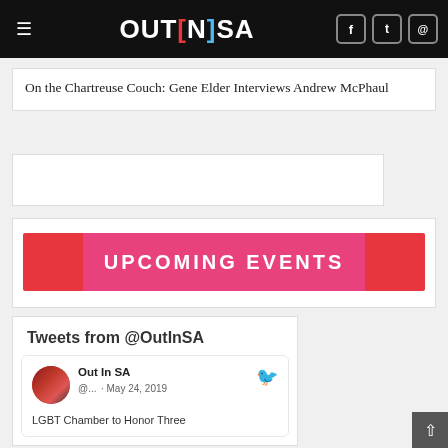OUTINSA
On the Chartreuse Couch: Gene Elder Interviews Andrew McPhaul
[Figure (other): Advertisement placeholder box]
[Figure (infographic): Upcoming Events banner with red and pink gradient background]
Tweets from @OutInSA
Out In SA @... · May 24, 2019
LGBT Chamber to Honor Three